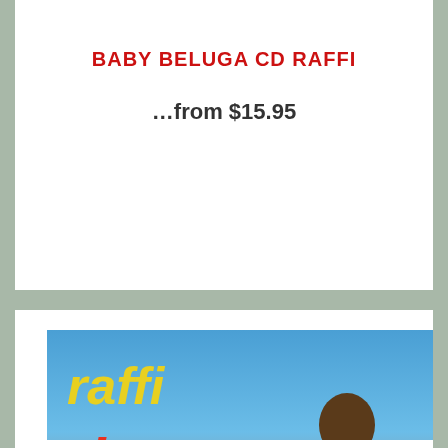BABY BELUGA CD RAFFI
…from $15.95
[Figure (photo): Album cover for Raffi 'Rise and Shine' showing Raffi wearing a yellow shirt holding a glass, with text 'raffi' in yellow and 'rise and shine' in red against a blue sky and orange/red horizon background]